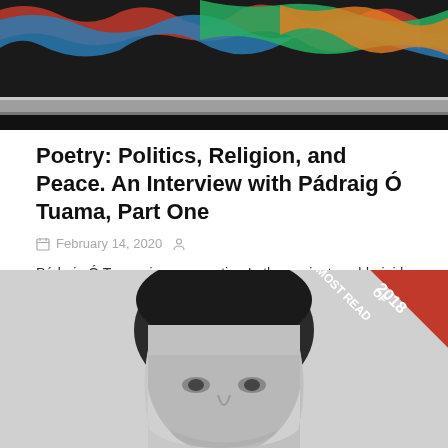[Figure (photo): Top portion of a photo showing colorful paint (red, blue, green, orange) on a dark surface with a metallic bar]
Poetry: Politics, Religion, and Peace. An Interview with Pádraig Ó Tuama, Part One
February 14, 2020
Pádraig Ó Tuama in conversation In the ancient world, rigid divisions between healers, poets, and spiritual leaders did not exist as they do … [Read More]
[Figure (photo): Black and white portrait photo of a young man with dark hair, with a red diagonal banner in the top right corner reading MOST READ OF 2018]